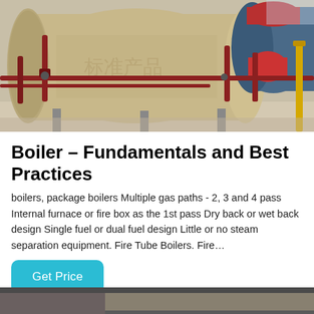[Figure (photo): Industrial boiler room showing large horizontal cylindrical boilers with red/orange pipes, blue and yellow vertical pipes, and support structures on a concrete floor.]
Boiler – Fundamentals and Best Practices
boilers, package boilers Multiple gas paths - 2, 3 and 4 pass Internal furnace or fire box as the 1st pass Dry back or wet back design Single fuel or dual fuel design Little or no steam separation equipment. Fire Tube Boilers. Fire…
[Figure (photo): Partial view of another boiler or industrial equipment at the bottom of the page.]